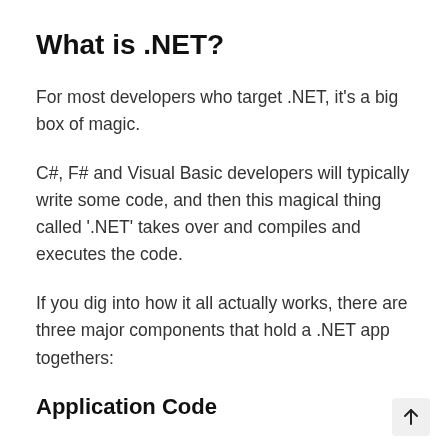What is .NET?
For most developers who target .NET, it's a big box of magic.
C#, F# and Visual Basic developers will typically write some code, and then this magical thing called '.NET' takes over and compiles and executes the code.
If you dig into how it all actually works, there are three major components that hold a .NET app togethers:
Application Code